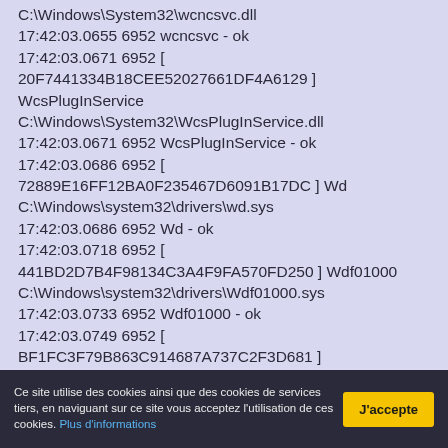C:\Windows\System32\wcncsvc.dll
17:42:03.0655 6952 wcncsvc - ok
17:42:03.0671 6952 [ 20F7441334B18CEE52027661DF4A6129 ] WcsPlugInService C:\Windows\System32\WcsPlugInService.dll
17:42:03.0671 6952 WcsPlugInService - ok
17:42:03.0686 6952 [ 72889E16FF12BA0F235467D6091B17DC ] Wd C:\Windows\system32\drivers\wd.sys
17:42:03.0686 6952 Wd - ok
17:42:03.0718 6952 [ 441BD2D7B4F98134C3A4F9FA570FD250 ] Wdf01000 C:\Windows\system32\drivers\Wdf01000.sys
17:42:03.0733 6952 Wdf01000 - ok
17:42:03.0749 6952 [ BF1FC3F79B863C914687A737C2F3D681 ] WdiServiceHost C:\Windows\system32\wdi.dll
17:42:03.0764 6952 WdiServiceHost - ok
17:42:03.0764 6952 [ BF1FC3F79B863C914687A737C2F3D681 ] WdiSystemHost
Ce site utilise des cookies ainsi que des cookies de services tiers, en naviguant sur ce site vous acceptez l'utilisation de ces cookies. Plus d'informations